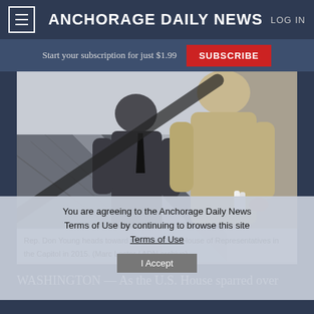ANCHORAGE DAILY NEWS  LOG IN
Start your subscription for just $1.99  SUBSCRIBE
[Figure (photo): Two men in suits riding an escalator, viewed from behind. One wears a dark suit, the other a tan/khaki jacket. One holds a rolled document. Setting appears to be the U.S. Capitol building.]
Rep. Don Young heads toward the floor of the House of Representatives in the Capitol in 2015. (Marc Lester / ADN archive)
You are agreeing to the Anchorage Daily News Terms of Use by continuing to browse this site Terms of Use
I Accept
WASHINGTON — As the U.S. House sparred over